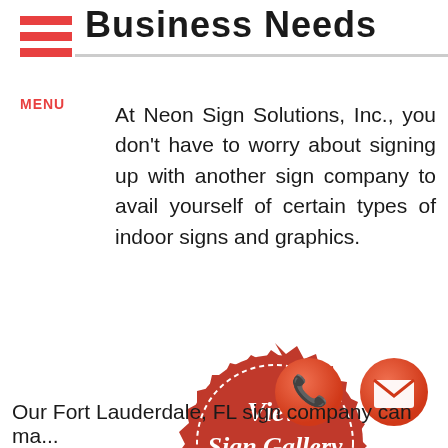Business Needs
At Neon Sign Solutions, Inc., you don't have to worry about signing up with another sign company to avail yourself of certain types of indoor signs and graphics.
[Figure (illustration): Red badge/seal with gold ribbon banner at the bottom reading 'CLICK HERE' and white script text 'View Sign Gallery' in the center with a dashed circular border inside the seal.]
[Figure (illustration): Orange-red circular phone icon button at bottom right]
[Figure (illustration): Orange-red circular email/envelope icon button at bottom right]
Our Fort Lauderdale, FL sign company can ma...